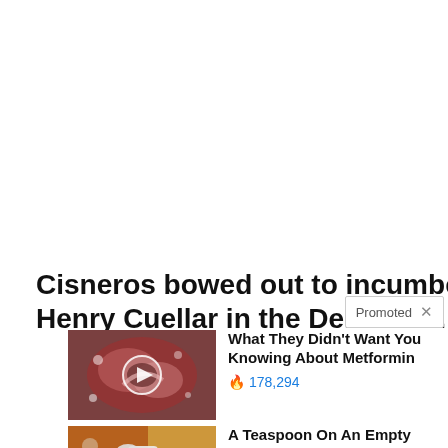Cisneros bowed out to incumbent Rep. Henry Cuellar in the Democra…
Promoted ×
[Figure (photo): Thumbnail image of medical/biological content with a video play button overlay]
What They Didn't Want You Knowing About Metformin 🔥 178,294
[Figure (photo): Thumbnail image of food/spice and fitness content]
A Teaspoon On An Empty Stomach Burns Fat Like Crazy! 🔥 128,454